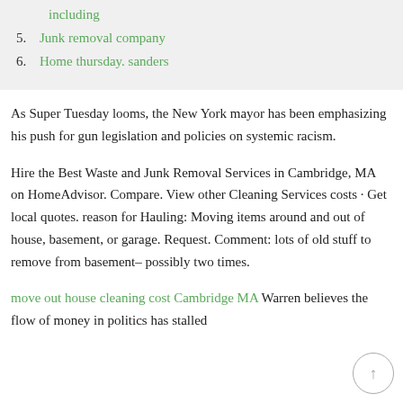including
5. Junk removal company
6. Home thursday. sanders
As Super Tuesday looms, the New York mayor has been emphasizing his push for gun legislation and policies on systemic racism.
Hire the Best Waste and Junk Removal Services in Cambridge, MA on HomeAdvisor. Compare. View other Cleaning Services costs · Get local quotes. reason for Hauling: Moving items around and out of house, basement, or garage. Request. Comment: lots of old stuff to remove from basement– possibly two times.
move out house cleaning cost Cambridge MA Warren believes the flow of money in politics has stalled